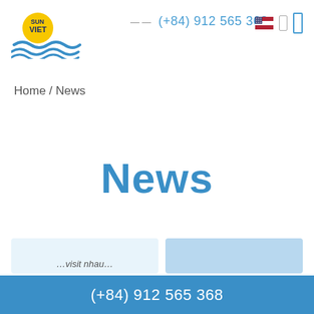[Figure (logo): Sun Viet logo with yellow sun circle and blue waves]
(+84) 912 565 368
Home / News
News
(+84) 912 565 368